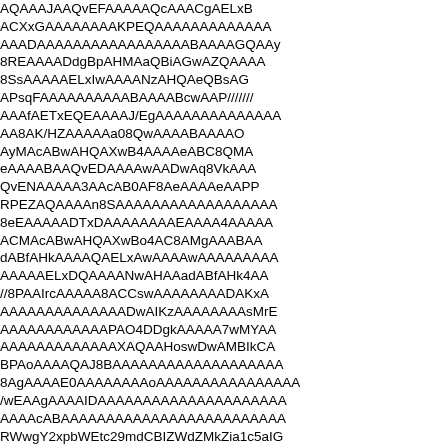AQAAAJAAQvEFAAAAAQcAAACgAELxBACXxGAAAAAAAAKPEQAAAAAAAAAAAAAAAAAAAAAAAAAAAAAAAAAAAAAAAAAAAAAAAAADAAAAAAAAAAAAAAAAABAAAAGQAAAAAAAAAAAAAAAAAAAAAAAAAAAAAAAAAAAAAAAAAAAAAAAAAAAAAA8REAAAADdgBpAHMAaQBiAGwAZQAAAAAAAAAAAAAAAAAAAAAAAAAAAAAAAAAAAAAAAAAAAAAAAAAAAAAAAAAAAA8SsAAAAAELxIwAAAANzAHQAeQBsAGUAAAAAAAAAAAAAAAAAAAAAAAAAAAAAAAAAAAAAAAAAAAAAAAAAAAAAAAAAPsqFAAAAAAAAAABAAAABcwAAP////////wAAAAAAAAAAAAAAAAAAAAAAAAAAAAAAAAAAAAAAAAAAAAAAAAAAAfAETxEQEAAAAJ/EgAAAAAAAAAAAAAAAAAAAAAAAAAAAAAAAAAAAAAAAAAAAAAAAAAAAAAAAAAAAAAAAAAAAAAA8AK/HZAAAAAa08QwAAAABAAAAO0AAAAAAAAAAAAAAAAAAAAAAAAAAAAAAAAAAAAAAAAAAAAAAAAAAAAAAAAAAAAyMAcABwAHQAXwB4AAAAeABC8QMA0AAAAAAAAAAAAAAAAAAAAAAAAAAAAAAAAAAAAAAAAAAAAAAAAAAAAAAAAeAAAABAAQvEDAAAAwAADwAq8VkAAAAAAAAAAAAAAAAAAAAAAAAAAAAAAAAAAAAAAAAAAAAAAAAAAAAAAAAAQvENAAAAA3AAcAB0AF8AeAAAAAeAAPP////////AAAAAAAAAAAAAAAAAAAAAAAAAAAAAAAAAAAAAAAAAAAAAAAAAAAAAAAAAAAAAAAAAAAAAAAAAAAAAAAAAAAAA8SAA8SAAAAAAAAAAAAAAAAAn8SAAAAAAAAAAAAAAAAAAAAAAAAAAAAAAAAAAAAAAAAAAAAAAAAAAAAAAAAAAAAACMAcABwAHQAXwBo4AC8AMgAAABAAAAAAAAAAAAAAAAAAAAAAAAAAAAAAAAAAAAAAAAAAAAAAAAAAAAAAAAAAAAAfAHkAAAAQAELxAwAAAAwAAAAAMAA8AKy8AAAAAAAAAAAAAAAAAAAAAAAAAAAAAAAAAAAAAAAAAAAAAAAAAAAAAAAAAELxDQAAAANwAHAAadABfAHk4AAAAANAAAAAAAAAAAAAAAAAAAAAAAAAAAAAAAAAAAAAAAAAAAAAAAAAAAAAAAA//8PAAIrcAAAAA8ACCswAAAAAAAADAKxAAAAAAAAAAAAAAAAAAAAAAAAAAAAAAAAAAAAAAAAAAAAAAAAAAAAAAAAAAAAAAAAAAAAAAAAADwAIKzAAAAAAAAsMrEAAAAAAAAAAAAAAAAAAAAAAAAAAAAAAAAAAAAAAAAAAAAAAAAAAAAAAAAAAAAAAAAAAAAAAAAAAAAAAAAPAO4DDgkAAAAA7wMYAAAAAAAAAAAAAAAAAAAAAAAAAAAAAAAAAAAAAAAAAAAAAAAAAAAAAAAAAAAAAAAAAAAAAAAAAAAAAAAAXAQAAH0swDwAMBIkCAAAAAAAAAAAAAAAAAAAAAAAAAAAAAAAAAAAAAAAAAAAAAAAAAAAAAAAAAAAAAAAAAAAAAAAAAAAAAAAABPAoAAAAQAJ8BAAAAAAAAAAAAAAAAAAAAAAAAAAAAAAAAAAAAAAAAAAAAAAAAAAAAAAAAAAAAAAAAAAAAAAAAAAAAAAA8AgAAAAE0AAAAAAAAoAAAAAAAAAAAAAAAAAAAAAAAAAAAAAAAAAAAAAAAAAAAAAAAAAAAAAAAAAAAAAAAAAAAAAAAAAAAAA/wEAAgAAAAIDAAAAAAAAAAAAAAAAAAAAAAAAAAAAAAAAAAAAAAAAAAAAAAAAAAAAAAAAAAAAAAAAAAAAAAAAAAAAAAAAAAAAAAAAAAAAAAAAAAAAAAAAAAAAAAAAAAAAAAAAAAAAAAAAAAAAAAAAAAAAAAAAAAAAAAAAAAAAAAAAAAAAAAAAAAAAAAAARWwgY2xpbWEtc29mdCBIZWdZMkZpYVc1aElGcm9tIFlTQnpaU0J0YjNOMGNtRmlZU0JtWld4cGVpQjVJR2hoY1hWcGRHRnlJR1JJSUdWelNCV3phWFJwYnlCNUlIbGhvbGMR5uWS4gAAChDx4AAAyCYAAAAAAAACA0AAAAAAAAAAAAAAAAAAAAAAAAAAAA8AAAAAAAAAAAAAAAAAAAAAAAAAAAAAAAAAAAAAAAAAAAAAAAAAAAAAAAAAAAAAAAAAAAAAAAAAAAAAAAAAAAAAAAAAAAAAAAAAAAAAAAAAAAAAAAAAAAAAAAAAAAAAAAAAAAAAAAAAAAAAAAAAAAAAAAAAAAAAAAAAAAAAAAAAAAAAAAAAAAAAAAAAAAAAAAAAAAAAAAAAAAAAAAAAAAAAAAAAAAAAAAAAAAAAAAAAAAAAAAAAAAAAAAAAAAAAAAAAAAAAAAAAAAAAAAAAAAAAAAAAAAAAAAAAAAAAAAAAAAAAAAAAAAAAAAAAAAAAAAAAAAAAAAAAAAAAAAAAAAAAAAAAAAAAAAAAAAAAAAAAAAAAAAAAAAAAAAAAAAAAAAAAAAAAAAAAAAAAAAAAAAAAAAAAAAAAAAAAAAAAAAAAAAAAAAAAAAAAAAAAAAAAAAAAAAAAAAAAAAAAAAAAAAAAAAAAAAAAAAAAAAAAAAAAAAAAAAAAAAAAAAAAAAAAAAAAAAAAAAAAAAAAAAAAAAAAAAAAAAAAAAAAAAAAAAAAAAAAAAAAAAAAAAAAAAAAAAAAAAAAAAAAAAAAAAAAAAAAAAAAAAAAAAAAAAAAAAAAAAAAAAAAAAAAAAAAAAAAAAAAAAAAAAAAAAAAAAAAAAAAAAAAAAAAAAAAAAAAAAAAAAAAAAAAAAAAAAAAAAAAAAAAAAAAAAAAAAAAAAAAAAAAAAAAAAAAAAAAAAAAAAAAAAAAAAAAAAAAAAAAAAAAAAAAAAAAAAAAAAAAAAAAAAAAAAAAAAAAAAAAAAAAAAAAAAAAAAAAAAAAAAAAAAAAAAAAAAAAAAAAAAAAAAAAAAAAAAAAAAAAAAAAAAAAAAAAAAAAAAAAAAAAAAAAAAAAAAAAAAAAAAAAAAAAAAAAAAAAAAAAAAAAAAAAAAAAAAAAAAAAAAAAAAAAAAAAAAAAAAAAAAAAAAAAAAAAAAAAAAAAAAAAAAAAAAAAAAAAAAAAAAAAAAAAAAAAAAAAAAAAAAAAAAAAAAAsWAL8FAAACAQMAAADAQUAAAiGAAAAAAAAAAAAAAAAAAAAAAAAAAAAAAAAAAAAAAAAAAAAAAAAAAAAAAAAAAAAAAAAAAAAAAAAAAAAAAAAAAAAAAAAAAAAAAAAAAAAAAAAAAAAAAAAAAAAAAAAAAAAAAAAAAAAAAAAAAAAAAAAAAAAAAAAAAAAAAAAAAAAAAAAAAAAAAAAAAAAAAAAOAACANEAwkAAAAAA/wEAAAAAAAAAAAAAAAAAAAAAAAAAAAAAAAAAAAAAAAAAAAAAAAAAAAAAAAAAAAAAAAAAAAAAAAAAAAAAAAAAAAAAAAAAAAAAAAAAAAAAAAAAAAAAAAAAAAAAAAAAAAAAAAAAAAAAAAAAAAAAAAAAAAAAAAAAAAAAAAAAAAAAAAAAAAAAAAAAAAAAAAAAAAAAAAAAAAAAAAAAAAAAAAAAAAAAAAAAAAAAAAAAAAAAAAAAAAAAAAAAAAAAAAAAAAAAAAAAAAAAAAAAAAAAAAAAAAAAAAAAAAAAAAAAAAAAAAAAAAAAAAAAAAAAAAAAAAAAAAAAAAAAAAAAAAAAAAAAAAAAAAAAAAAAAAAAAAAAAA8ACAAAEAwkAAAAAAAAAAAAAAAAAAAAAAAAAAAAAAAAAAAAAAAAAAAAAAAAAAAAAAAAAAAAAAAAAAAAAAAAAAAAAAAAAAAAAAAAAAAAAAAAAAAAAAAAAAAAAAAAAAAAAAAAAAAAAAAAAAAAAAAAAAAAAAAAAAAAAAAAAAA